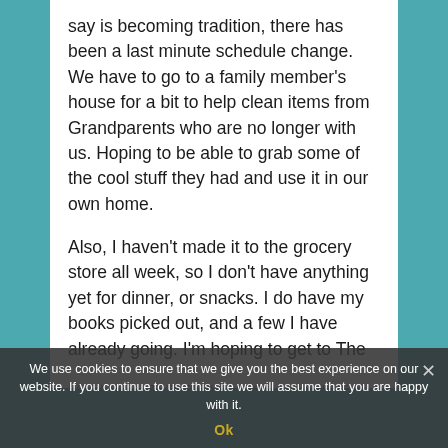say is becoming tradition, there has been a last minute schedule change. We have to go to a family member's house for a bit to help clean items from Grandparents who are no longer with us. Hoping to be able to grab some of the cool stuff they had and use it in our own home.
Also, I haven't made it to the grocery store all week, so I don't have anything yet for dinner, or snacks. I do have my books picked out, and a few I have already going. I'm hoping to get to The Hobbit by J. R. Tolkein. Can you believe I haven't read or seen the movies of the Lord of the Rings series? I would love to get through this very soon.
We use cookies to ensure that we give you the best experience on our website. If you continue to use this site we will assume that you are happy with it.
Ok